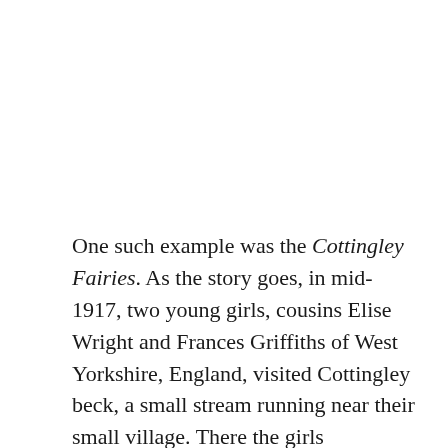One such example was the Cottingley Fairies.  As the story goes, in mid-1917, two young girls, cousins Elise Wright and Frances Griffiths of West Yorkshire, England, visited Cottingley beck, a small stream running near their small village.  There the girls apparently witnessed groups of fairies frolicking about near the rivers edge.  Elise being 16 at the time and Frances being only 10 years old, claimed to not only interact with the fairies but, incredibly, they captured five photographs of the creatures over a